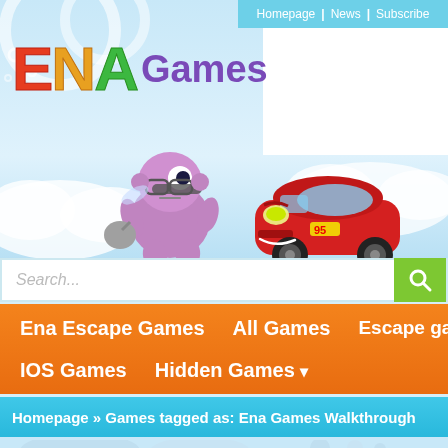Homepage | News | Subscribe
[Figure (logo): ENA Games logo with colorful letters E (red), N (orange), A (green) and 'Games' in purple]
[Figure (illustration): Purple cartoon character flying with a bag and wearing goggles, and a red Lightning McQueen car from the movie Cars]
Search...
Ena Escape Games   All Games   Escape games   IOS Games   Hidden Games
Homepage » Games tagged as: Ena Games Walkthrough